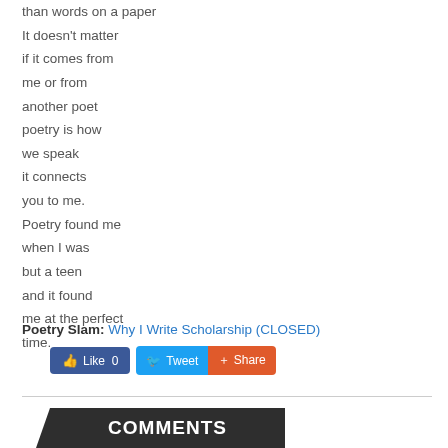than words on a paper
It doesn't matter
if it comes from
me or from
another poet
poetry is how
we speak
it connects
you to me.
Poetry found me
when I was
but a teen
and it found
me at the perfect
time.
Poetry Slam: Why I Write Scholarship (CLOSED)
[Figure (other): Social sharing buttons: Like 0, Tweet, Share]
COMMENTS